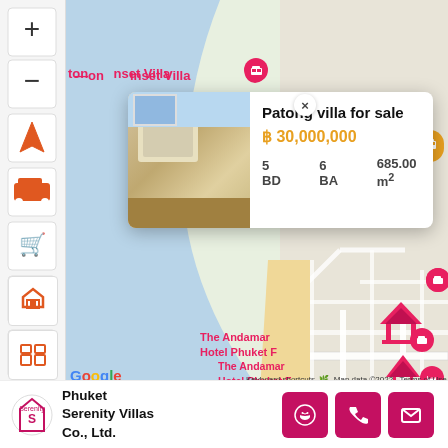[Figure (map): Google Maps screenshot showing Patong area Phuket Thailand with ocean on left, road network, landmarks including The Andaman Hotel Phuket, Four Points by Sheraton Phuket, Phuket Graceland. Property popup shows: Patong villa for sale, ฿ 30,000,000, 5 BD, 6 BA, 685.00 m². Side toolbar with map filter icons. Road signs 4030, 4029. Soi Bangtong label visible.]
Patong villa for sale
฿ 30,000,000
5 BD   6 BA   685.00 m²
Phuket Serenity Villas Co., Ltd.